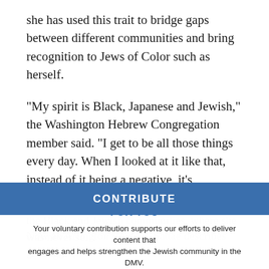she has used this trait to bridge gaps between different communities and bring recognition to Jews of Color such as herself.
“My spirit is Black, Japanese and Jewish,” the Washington Hebrew Congregation member said. “I get to be all those things every day. When I looked at it like that, instead of it being a negative, it’s empowering.”
WASHINGTON JEWISH WEEK IS HERE FOR YOU
Your voluntary contribution supports our efforts to deliver content that engages and helps strengthen the Jewish community in the DMV.
CONTRIBUTE
Now an Arlington resident, Sanae describes growing up as the Black and Jewish communities, where she was never se… “enough.”